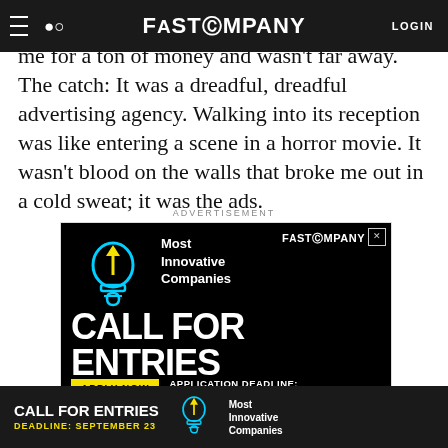FAST COMPANY  LOGIN
headhunter told me about a place that wanted me for a ton of money and wasn't far away. The catch: It was a dreadful, dreadful advertising agency. Walking into its reception was like entering a scene in a horror movie. It wasn't blood on the walls that broke me out in a cold sweat; it was the ads.
ADVERTISEMENT
[Figure (infographic): Fast Company advertisement for Most Innovative Companies Call for Entries. Black background with cyan/yellow lightbulb icon, white bold text reading CALL FOR ENTRIES, Apply Now yellow button, Application Deadline text. Fast Company logo top right. X close button top right corner.]
[Figure (infographic): Bottom sticky bar advertisement: dark background, white bold CALL FOR ENTRIES text, yellow DEADLINE: SEPTEMBER 23 text, lightbulb icon, Most Innovative Companies text in white.]